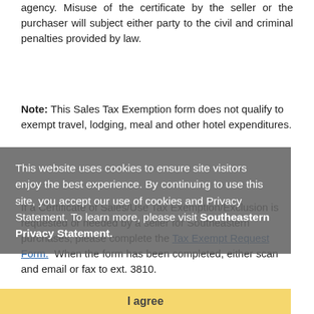agency. Misuse of the certificate by the seller or the purchaser will subject either party to the civil and criminal penalties provided by law.
Note: This Sales Tax Exemption form does not qualify to exempt travel, lodging, meal and other hotel expenditures.
This website uses cookies to ensure site visitors enjoy the best experience. By continuing to use this site, you accept our use of cookies and Privacy Statement. To learn more, please visit Southeastern Privacy Statement.
If a Certificate of Sales/Use Tax Exemption/Exclusion is requested or needed by a seller for Southeastern purchases, please complete the Tax Exempt Request Form. When the form has been completed, either scan and email or fax to ext. 3810.
I agree